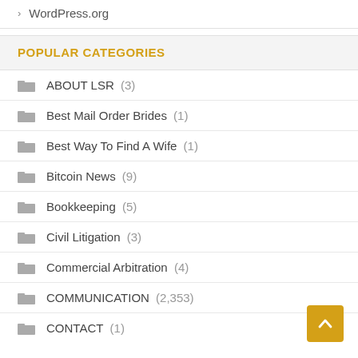WordPress.org
POPULAR CATEGORIES
ABOUT LSR (3)
Best Mail Order Brides (1)
Best Way To Find A Wife (1)
Bitcoin News (9)
Bookkeeping (5)
Civil Litigation (3)
Commercial Arbitration (4)
COMMUNICATION (2,353)
CONTACT (1)